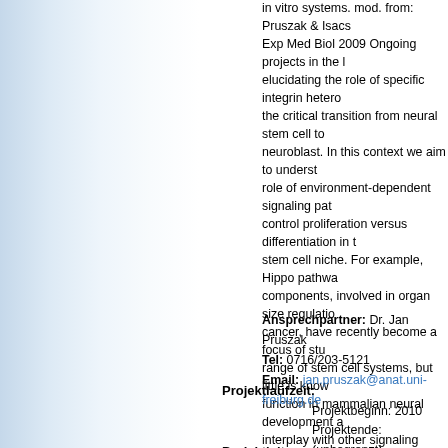in vitro systems. mod. from: Pruszak & Isacs Exp Med Biol 2009 Ongoing projects in the l elucidating the role of specific integrin hetero the critical transition from neural stem cell to neuroblast. In this context we aim to underst role of environment-dependent signaling pat control proliferation versus differentiation in t stem cell niche. For example, Hippo pathwa components, involved in organ size regulatio cancer, have recently become a focus of stu range of stem cell systems, but little is know function in mammalian neural development a interplay with other signaling pathways. Enh understanding of how neural cell numbers a controlled during brain development may en better control and therapeutically exploit hu stem cell systems in the future.
Ansprechpartner: Dr. Jan Pruszak
Tel: 0716/203-5121
Email: jan.pruszak@anat.uni-freiburg.de
Projektlaufzeit:
Projektbeginn: 2010
Projektende: (unbegrenzt)
Projektleitung:
Pruszak J
Albert-Ludwigs-Universität Freiburg